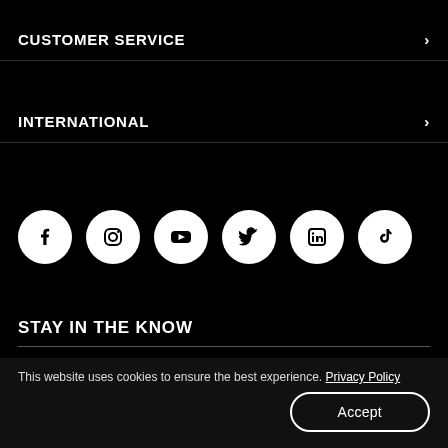CUSTOMER SERVICE
INTERNATIONAL
[Figure (infographic): Row of six social media icons (Facebook, Instagram, YouTube, Twitter, LinkedIn, TikTok) as white circles on black background]
STAY IN THE KNOW
This website uses cookies to ensure the best experience. Privacy Policy
Accept